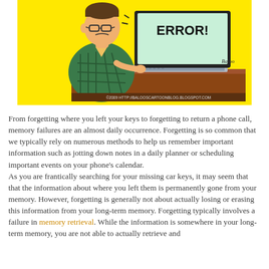[Figure (illustration): Cartoon showing a man sitting at a laptop computer. The laptop screen displays 'ERROR!' in bold text. The background is bright yellow. The man looks distressed. A copyright notice at the bottom reads: ©2009 HTTP://BALOOSCARTOONBLOG.BLOGSPOT.COM. Artist signature 'Baloo' visible on the image.]
From forgetting where you left your keys to forgetting to return a phone call, memory failures are an almost daily occurrence. Forgetting is so common that we typically rely on numerous methods to help us remember important information such as jotting down notes in a daily planner or scheduling important events on your phone's calendar.
As you are frantically searching for your missing car keys, it may seem that that the information about where you left them is permanently gone from your memory. However, forgetting is generally not about actually losing or erasing this information from your long-term memory. Forgetting typically involves a failure in memory retrieval. While the information is somewhere in your long-term memory, you are not able to actually retrieve and